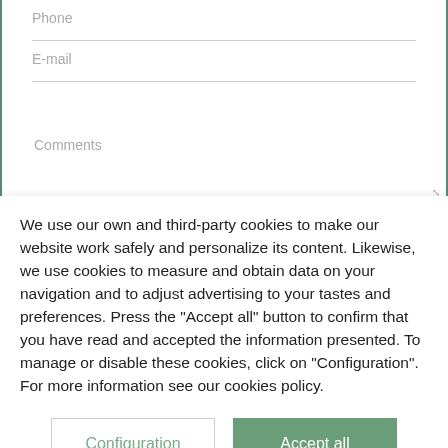[Figure (screenshot): Contact form with Phone, E-mail, and Comments input fields inside a bordered form area]
We use our own and third-party cookies to make our website work safely and personalize its content. Likewise, we use cookies to measure and obtain data on your navigation and to adjust advertising to your tastes and preferences. Press the "Accept all" button to confirm that you have read and accepted the information presented. To manage or disable these cookies, click on "Configuration". For more information see our cookies policy.
Configuration
Accept all